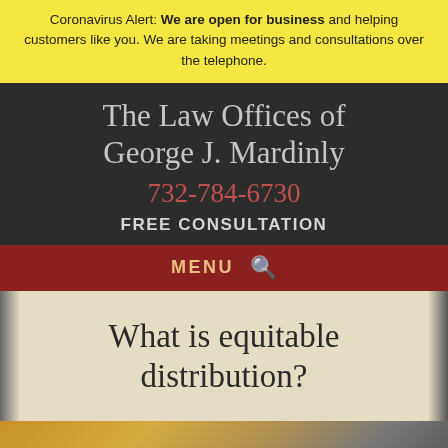Coronavirus Alert: We are open for business and helping customers like you. We are taking meetings and consultations over the telephone.
The Law Offices of George J. Mardinly
732-784-6730
FREE CONSULTATION
MENU
What is equitable distribution?
[Figure (photo): Blurred photo of legal/office objects with warm amber tones]
LIVE CHAT
TEXT US